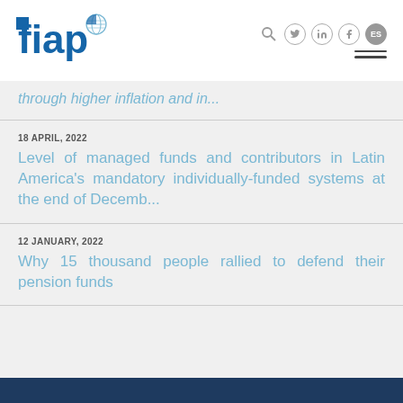[Figure (logo): FIAP logo with globe icon — blue letters 'fiap' with blue square and globe]
through higher inflation and in...
18 APRIL, 2022
Level of managed funds and contributors in Latin America's mandatory individually-funded systems at the end of Decemb...
12 JANUARY, 2022
Why 15 thousand people rallied to defend their pension funds